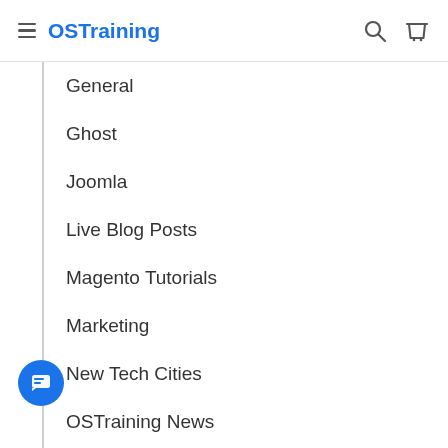OSTraining
General
Ghost
Joomla
Live Blog Posts
Magento Tutorials
Marketing
New Tech Cities
OSTraining News
Podcasts
Sponsored
Tools
Web Design
WooCommerce